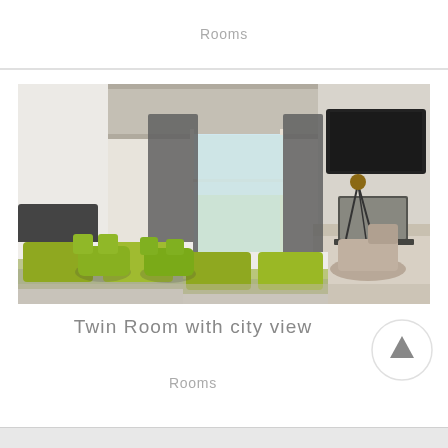Rooms
[Figure (photo): Hotel twin room with two beds featuring yellow-green pillows and gray runners, two lime green chairs, large windows with gray curtains opening to a balcony, white brick walls, exposed concrete ceiling, and a desk area on the right with a laptop, lamp, and TV mounted on wall.]
Twin Room with city view
Rooms